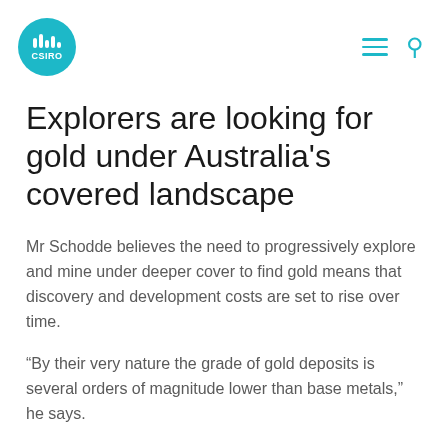CSIRO
Explorers are looking for gold under Australia's covered landscape
Mr Schodde believes the need to progressively explore and mine under deeper cover to find gold means that discovery and development costs are set to rise over time.
“By their very nature the grade of gold deposits is several orders of magnitude lower than base metals,” he says.